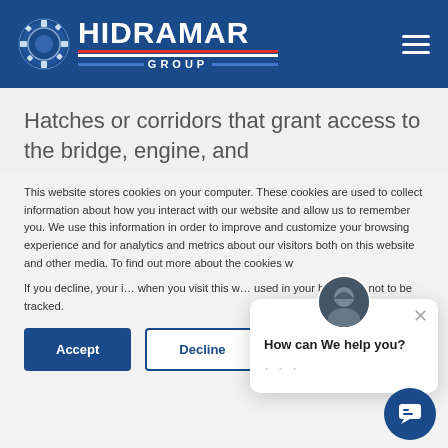[Figure (logo): Hidramar Group logo with gear icon, white text on dark blue background, with red/white/blue horizontal bars]
Hatches or corridors that grant access to the bridge, engine, and
This website stores cookies on your computer. These cookies are used to collect information about how you interact with our website and allow us to remember you. We use this information in order to improve and customize your browsing experience and for analytics and metrics about our visitors both on this website and other media. To find out more about the cookies w…
If you decline, your information won't be tracked when you visit this w… used in your browse… not to be tracked.
How can We help you?